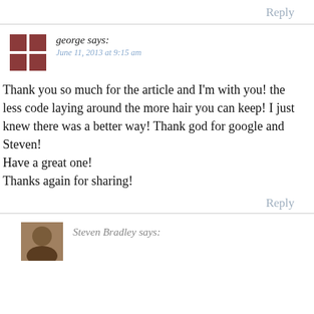Reply
george says:
June 11, 2013 at 9:15 am
Thank you so much for the article and I'm with you! the less code laying around the more hair you can keep! I just knew there was a better way! Thank god for google and Steven!
Have a great one!
Thanks again for sharing!
Reply
Steven Bradley says: